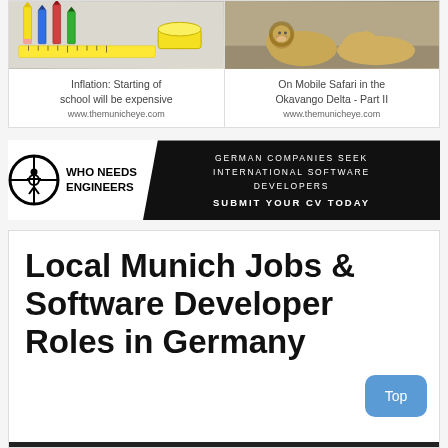[Figure (photo): School supplies photo - pencils, ruler, yellow pencil sharpener container on white background]
Inflation: Starting of school will be expensive
www.themunicheye.com
[Figure (photo): Lions resting on safari in Okavango Delta]
On Mobile Safari in the Okavango Delta - Part II
www.themunicheye.com
[Figure (logo): Who Needs Engineers logo - circular crosshair with person figure, black and white]
WHO NEEDS ENGINEERS
[Figure (infographic): Black banner ad: GERMAN COMPANIES SEEK INTERNATIONAL SOFTWARE DEVELOPERS - SUBMIT YOUR CV TODAY]
Local Munich Jobs & Software Developer Roles in Germany